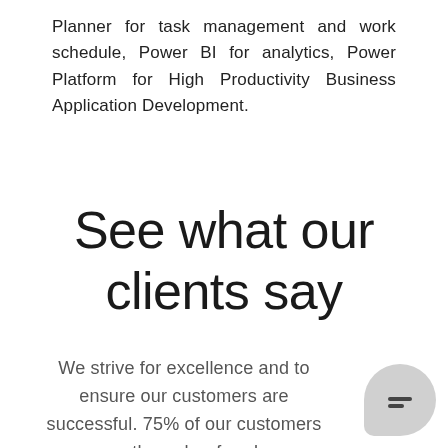Planner for task management and work schedule, Power BI for analytics, Power Platform for High Productivity Business Application Development.
See what our clients say
We strive for excellence and to ensure our customers are successful. 75% of our customers are through referrals